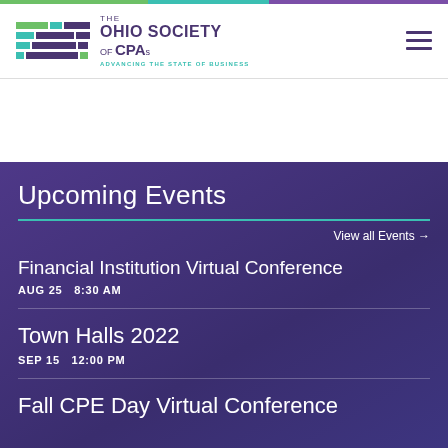[Figure (logo): The Ohio Society of CPAs logo with colored horizontal bars and text 'THE OHIO SOCIETY OF CPAs ADVANCING THE STATE OF BUSINESS']
Upcoming Events
View all Events →
Financial Institution Virtual Conference
AUG 25   8:30 AM
Town Halls 2022
SEP 15   12:00 PM
Fall CPE Day Virtual Conference